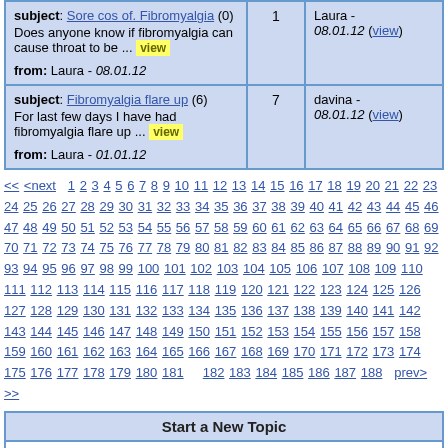| Subject / Message | Replies | Last Post |
| --- | --- | --- |
| subject: Sore cos of. Fibromyalgia (0) Does anyone know if fibromyalgia can cause throat to be ... view
from: Laura - 08.01.12 | 1 | Laura -
08.01.12 (view) |
| subject: Fibromyalgia flare up (6) For last few days I have had fibromyalgia flare up ... view
from: Laura - 01.01.12 | 7 | davina -
08.01.12 (view) |
<< <next 1 2 3 4 5 6 7 8 9 10 11 12 13 14 15 16 17 18 19 20 21 22 23 24 25 26 27 28 29 30 31 32 33 34 35 36 37 38 39 40 41 42 43 44 45 46 47 48 49 50 51 52 53 54 55 56 57 58 59 60 61 62 63 64 65 66 67 68 69 70 71 72 73 74 75 76 77 78 79 80 81 82 83 84 85 86 87 88 89 90 91 92 93 94 95 96 97 98 99 100 101 102 103 104 105 106 107 108 109 110 111 112 113 114 115 116 117 118 119 120 121 122 123 124 125 126 127 128 129 130 131 132 133 134 135 136 137 138 139 140 141 142 143 144 145 146 147 148 149 150 151 152 153 154 155 156 157 158 159 160 161 162 163 164 165 166 167 168 169 170 171 172 173 174 175 176 177 178 179 180 181 182 183 184 185 186 187 188 prev> >>
Start a New Topic
Subject: